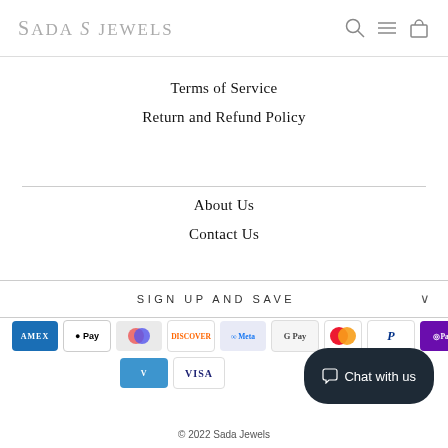Sada Jewels
Terms of Service
Return and Refund Policy
About Us
Contact Us
SIGN UP AND SAVE
[Figure (logo): Payment method icons: American Express, Apple Pay, Diners Club, Discover, Meta Pay, Google Pay, Mastercard, PayPal, ShopPay, Venmo, Visa]
Chat with us
© 2022 Sada Jewels